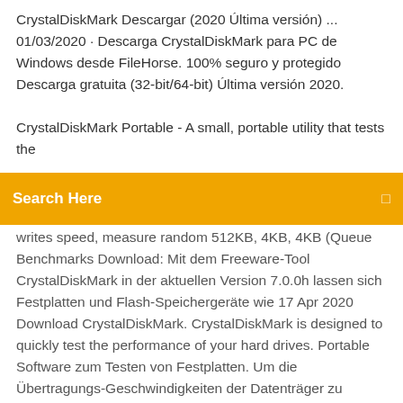CrystalDiskMark Descargar (2020 Última versión) ...
01/03/2020 · Descarga CrystalDiskMark para PC de Windows desde FileHorse. 100% seguro y protegido Descarga gratuita (32-bit/64-bit) Última versión 2020.

CrystalDiskMark Portable - A small, portable utility that tests the
Search Here
writes speed, measure random 512KB, 4KB, 4KB (Queue Benchmarks Download: Mit dem Freeware-Tool CrystalDiskMark in der aktuellen Version 7.0.0h lassen sich Festplatten und Flash-Speichergeräte wie 17 Apr 2020 Download CrystalDiskMark. CrystalDiskMark is designed to quickly test the performance of your hard drives. Portable Software zum Testen von Festplatten. Um die Übertragungs-Geschwindigkeiten der Datenträger zu ermitteln, schreibt CrystalDiskMark anhand von  CrystalDiskInfo Portable, descargar gratis. CrystalDiskInfo Portable última versión: